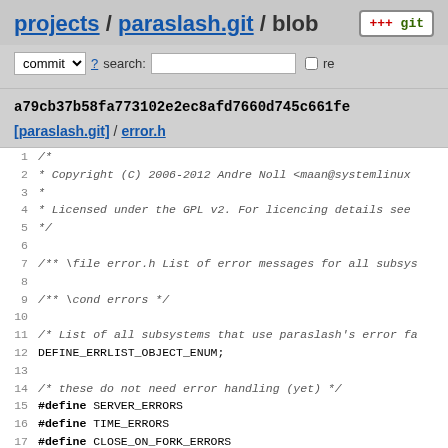projects / paraslash.git / blob
commit ? search: re
a79cb37b58fa773102e2ec8afd7660d745c661fe
[paraslash.git] / error.h
[Figure (screenshot): Source code viewer showing error.h file from paraslash.git with line numbers 1-21, containing copyright header, GPL license notice, doxygen comments, and #define preprocessor macros for error types (SERVER_ERRORS, TIME_ERRORS, CLOSE_ON_FORK_ERRORS, DAEMON_ERRORS, GUI_ERRORS, GUI_THEME_ERRORS, RINGBUFFER_ERRORS)]